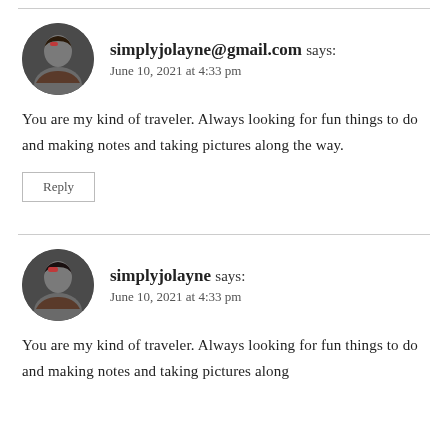simplyjolayne@gmail.com says:
June 10, 2021 at 4:33 pm
You are my kind of traveler. Always looking for fun things to do and making notes and taking pictures along the way.
Reply
simplyjolayne says:
June 10, 2021 at 4:33 pm
You are my kind of traveler. Always looking for fun things to do and making notes and taking pictures along